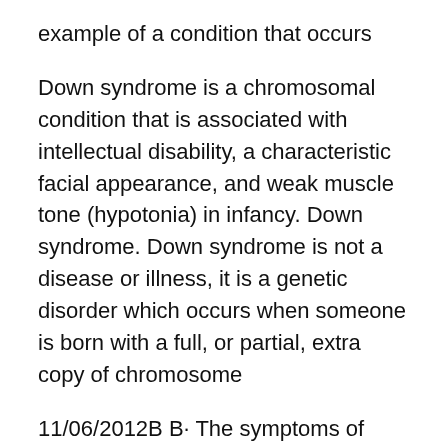example of a condition that occurs
Down syndrome is a chromosomal condition that is associated with intellectual disability, a characteristic facial appearance, and weak muscle tone (hypotonia) in infancy. Down syndrome. Down syndrome is not a disease or illness, it is a genetic disorder which occurs when someone is born with a full, or partial, extra copy of chromosome
11/06/2012B B· The symptoms of Down syndrome vary from person to with Down syndrome is often slower than development of children without Down syndrome. For example. What is Down's